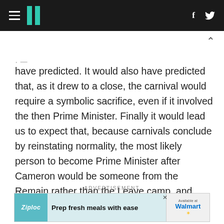HuffPost navigation header with hamburger menu, logo, Facebook and Twitter icons
have predicted. It would also have predicted that, as it drew to a close, the carnival would require a symbolic sacrifice, even if it involved the then Prime Minister. Finally it would lead us to expect that, because carnivals conclude by reinstating normality, the most likely person to become Prime Minister after Cameron would be someone from the Remain rather than the Leave camp, and definitely not one of the clowns!
ADVERTISEMENT
[Figure (screenshot): Advertisement banner: Ziploc 'Prep fresh meals with ease' ad available at Walmart]